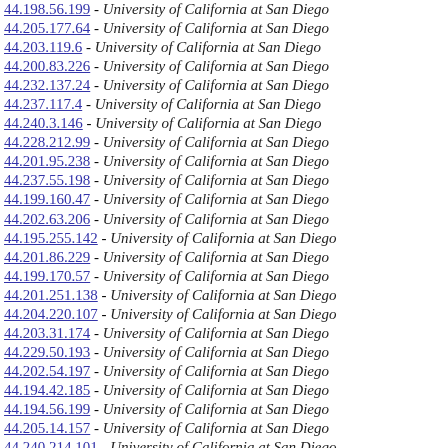44.198.56.199 - University of California at San Diego
44.205.177.64 - University of California at San Diego
44.203.119.6 - University of California at San Diego
44.200.83.226 - University of California at San Diego
44.232.137.24 - University of California at San Diego
44.237.117.4 - University of California at San Diego
44.240.3.146 - University of California at San Diego
44.228.212.99 - University of California at San Diego
44.201.95.238 - University of California at San Diego
44.237.55.198 - University of California at San Diego
44.199.160.47 - University of California at San Diego
44.202.63.206 - University of California at San Diego
44.195.255.142 - University of California at San Diego
44.201.86.229 - University of California at San Diego
44.199.170.57 - University of California at San Diego
44.201.251.138 - University of California at San Diego
44.204.220.107 - University of California at San Diego
44.203.31.174 - University of California at San Diego
44.229.50.193 - University of California at San Diego
44.202.54.197 - University of California at San Diego
44.194.42.185 - University of California at San Diego
44.194.56.199 - University of California at San Diego
44.205.14.157 - University of California at San Diego
44.240.214.101 - University of California at San Diego
44.203.224.111 - University of California at San Diego
44.198.169.56 - University of California at San Diego
44.240.185.72 - University of California at San Diego
44.238.236.123 - University of California at San Diego
44.204.207.94 - University of California at San Diego
44.197.27.190 - University of California at San Diego